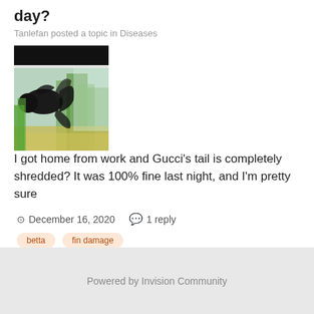day?
Tanlefan posted a topic in Diseases
[Figure (photo): A black betta fish swimming in an aquarium with green plants]
I got home from work and Gucci's tail is completely shredded? It was 100% fine last night, and I'm pretty sure
December 16, 2020   1 reply
betta   fin damage
Powered by Invision Community